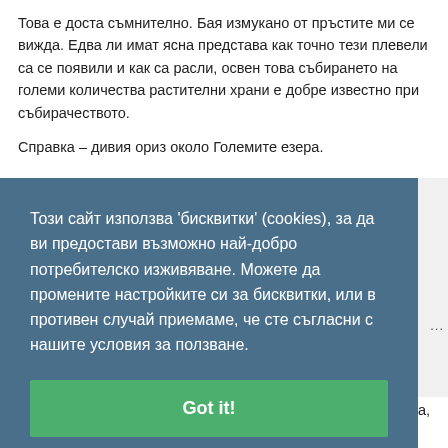Това е доста съмнително. Бая измукано от пръстите ми се вижда. Едва ли имат ясна представа как точно тези плевели са се появили и как са расли, освен това събирането на големи количества растителни храни е добре известно при събирачеството.
Справка – дивия ориз около Големите езера.
Този сайт използва 'бисквитки' (cookies), за да ви предостави възможно най-добро потребителско изживяване. Можете да промените настройките си за бисквитки, или в противен случай приемаме, че сте съгласни с нашите условия за ползване.
Got it!
кста,
та не знам защо са решили да му сложат сложили такова